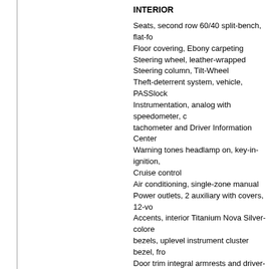INTERIOR
Seats, second row 60/40 split-bench, flat-fo Floor covering, Ebony carpeting Steering wheel, leather-wrapped Steering column, Tilt-Wheel Theft-deterrent system, vehicle, PASSlock Instrumentation, analog with speedometer, c tachometer and Driver Information Center Warning tones headlamp on, key-in-ignition, Cruise control Air conditioning, single-zone manual Power outlets, 2 auxiliary with covers, 12-vo Accents, interior Titanium Nova Silver-colore bezels, uplevel instrument cluster bezel, fro Door trim integral armrests and driver- and f Visors, driver and front passenger, padded w Assist handles, front passenger and rear out Coat hooks, driver- and passenger-side rear
SAFETY
StabiliTrak, stability control system with Trac Daytime Running Lamps with automatic exte Air bags, frontal, driver and right-front passe Always use safety belts and the correct chil the Passenger Sensing System, children are infant, child or booster seat. Never place a r equipped with an active frontal air bag. See Air bags, head curtain side-impact, driver an passengers (Head Curtain Side Air Bags are